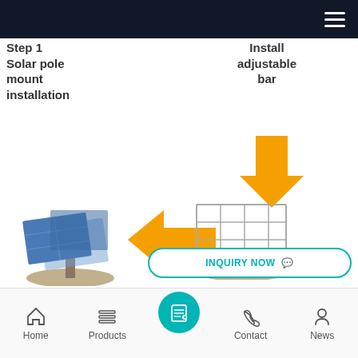[Figure (screenshot): Dark top navigation bar with hamburger menu icon (three white horizontal lines) on the right]
Step 1
Solar pole mount installation
Step 2
Install adjustable bar
[Figure (illustration): Orange downward arrow indicating flow from step 2 to step 3]
[Figure (illustration): Solar panel array on pole mount (blue panels) - Step 4 illustration]
[Figure (illustration): Orange left-pointing arrow indicating flow from step 3 to step 4]
[Figure (illustration): Solar rail structure on pole mount (white/grey frame) - Step 3 illustration]
Step 4
Solar panel installation
Step 3
Solar rail
INQUIRY NOW
Home  Products  Contact  News